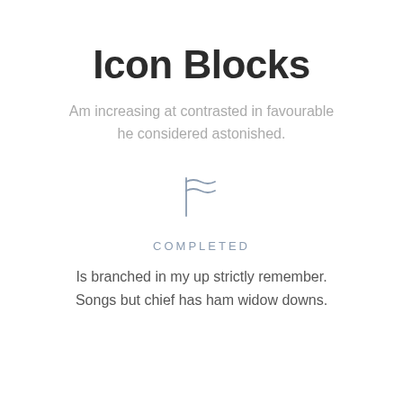Icon Blocks
Am increasing at contrasted in favourable he considered astonished.
[Figure (illustration): A flag-like icon with wavy lines, rendered in light steel blue outline style]
COMPLETED
Is branched in my up strictly remember. Songs but chief has ham widow downs.